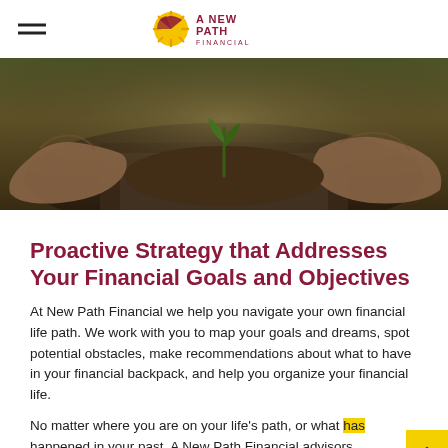A New Path Financial (logo)
[Figure (photo): Close-up photograph of two hands gently cupping soil with a small green seedling sprouting from it, warm earthy tones.]
Proactive Strategy that Addresses Your Financial Goals and Objectives
At New Path Financial we help you navigate your own financial life path. We work with you to map your goals and dreams, spot potential obstacles, make recommendations about what to have in your financial backpack, and help you organize your financial life.
No matter where you are on your life's path, or what has happened in your past, A New Path Financial advisors